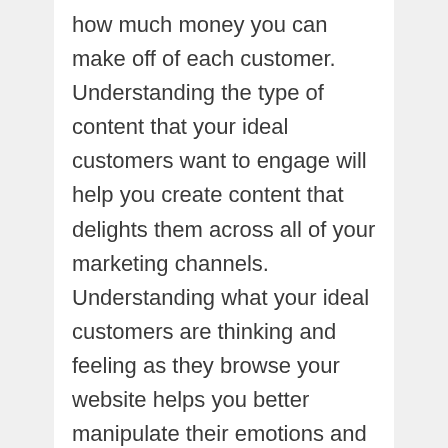how much money you can make off of each customer. Understanding the type of content that your ideal customers want to engage will help you create content that delights them across all of your marketing channels. Understanding what your ideal customers are thinking and feeling as they browse your website helps you better manipulate their emotions and propensity to buy from you. Understanding your ideal customers helps you identify where you have the competitive advantage over your competitors.